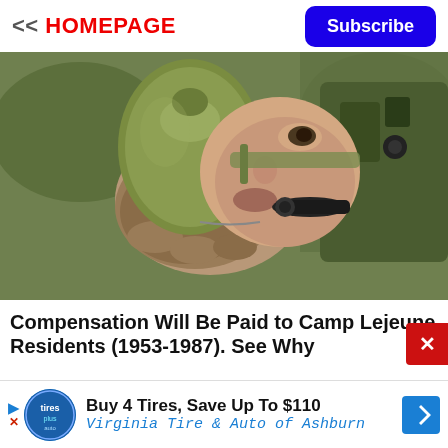<< HOMEPAGE | Subscribe
[Figure (photo): Close-up of a soldier in military gear drinking from an olive-green military canteen, wearing tactical gloves and a headset microphone]
Compensation Will Be Paid to Camp Lejeune Residents (1953-1987). See Why
[Figure (other): Advertisement: Buy 4 Tires, Save Up To $110 — Virginia Tire & Auto of Ashburn]